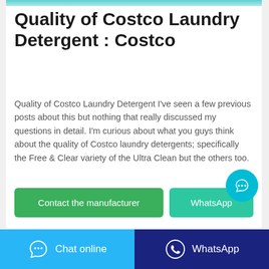[Figure (photo): Partial image of Costco laundry detergent product at top of card]
Quality of Costco Laundry Detergent : Costco
Quality of Costco Laundry Detergent I've seen a few previous posts about this but nothing that really discussed my questions in detail. I'm curious about what you guys think about the quality of Costco laundry detergents; specifically the Free & Clear variety of the Ultra Clean but the others too.
[Figure (other): Contact the manufacturer button (green) and WhatsApp button (teal) with cyan chat bubble icon]
[Figure (other): Bottom bar with Chat online button (light blue) and WhatsApp button (dark blue)]